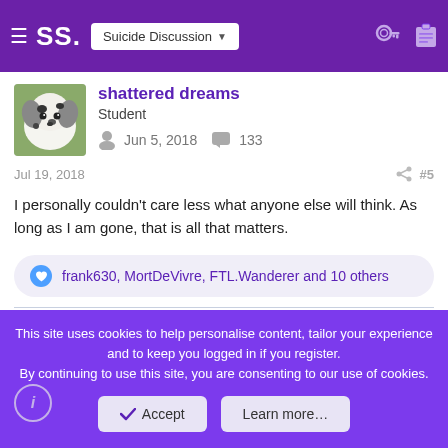SS. Suicide Discussion
[Figure (photo): Dalmatian dog profile photo used as user avatar]
shattered dreams
Student
Jun 5, 2018  133
Jul 19, 2018  #5
I personally couldn't care less what anyone else will think. As long as I am gone, that is all that matters.
frank630, MortDeVivre, FTL.Wanderer and 10 others
This site uses cookies to help personalise content, tailor your experience and to keep you logged in if you register.
By continuing to use this site, you are consenting to our use of cookies.